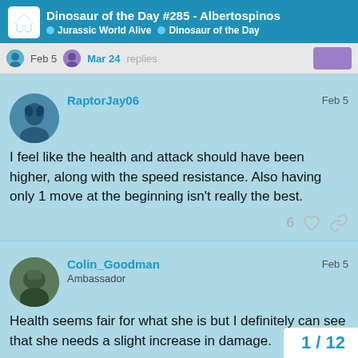Dinosaur of the Day #285 - Albertospinos | Jurassic World Alive > Dinosaur of the Day
Feb 5 | Mar 24 | replies
RaptorJay06 — Feb 5
I feel like the health and attack should have been higher, along with the speed resistance. Also having only 1 move at the beginning isn't really the best.
6 likes
Colin_Goodman — Ambassador — Feb 5
Health seems fair for what she is but I definitely can see that she needs a slight increase in damage.
1 / 12